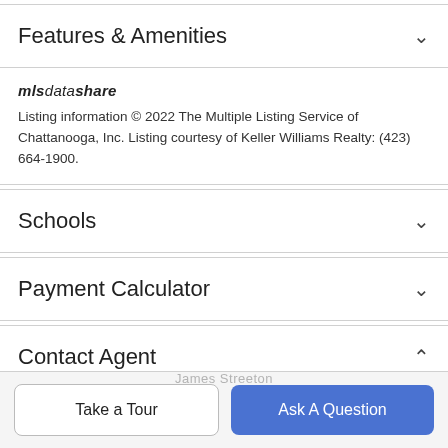Features & Amenities
Listing information © 2022 The Multiple Listing Service of Chattanooga, Inc. Listing courtesy of Keller Williams Realty: (423) 664-1900.
Schools
Payment Calculator
Contact Agent
[Figure (photo): Agent profile photo circle (partial view at bottom of Contact Agent section)]
Take a Tour
Ask A Question